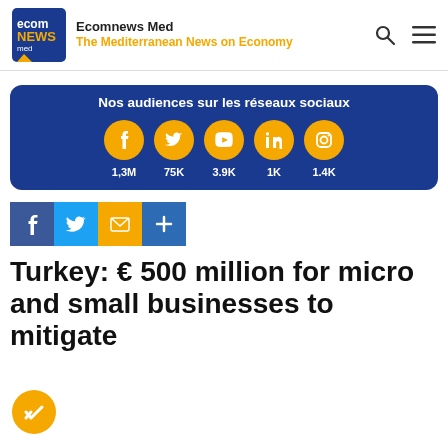Ecomnews Med — The Mediterranean News on Economy
[Figure (infographic): Social media audience panel with dark blue background showing icons and counts: Facebook 1,3M, Twitter 75K, YouTube 3.9K, LinkedIn 1K, Instagram 1.4K]
[Figure (infographic): Social share buttons: Facebook, Twitter, Email, Plus]
Turkey: € 500 million for micro and small businesses to mitigate